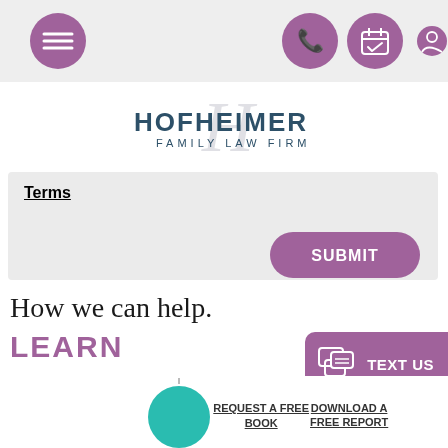[Figure (screenshot): Mobile website header navigation bar with hamburger menu icon and icons for phone, calendar, and user profile, all in purple circles on a light grey background]
[Figure (logo): Hofheimer Family Law Firm logo with decorative script H watermark behind sans-serif text]
Terms
[Figure (other): Purple rounded Submit button]
How we can help.
LEARN
[Figure (other): Purple Text Us button with messaging icon on right side of screen]
REQUEST A FREE BOOK
DOWNLOAD A FREE REPORT